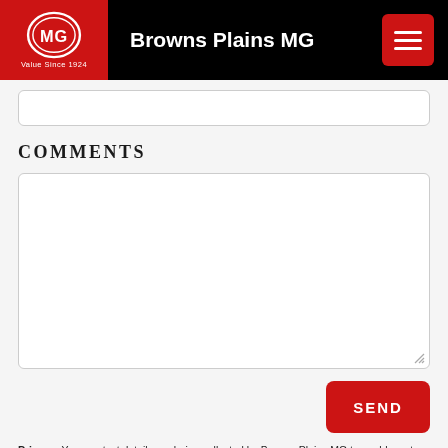Browns Plains MG
[Figure (logo): MG logo with red background and tagline 'Value Since 1924']
COMMENTS
Privacy: Your contact details are being collected by Browns Plains MG to enable us to